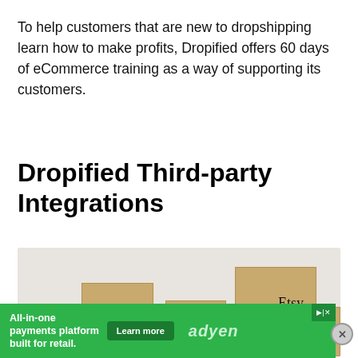To help customers that are new to dropshipping learn how to make profits, Dropified offers 60 days of eCommerce training as a way of supporting its customers.
Dropified Third-party Integrations
[Figure (photo): Photo of cardboard shipping boxes branded with Wish, Amazon, and Etsy logos stacked together on a light gray background.]